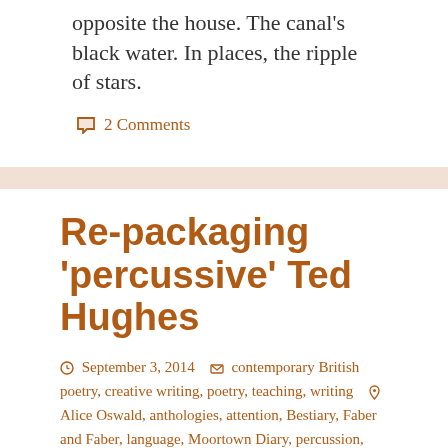opposite the house. The canal’s black water. In places, the ripple of stars.
💬 2 Comments
Re-packaging ‘percussive’ Ted Hughes
September 3, 2014   contemporary British poetry, creative writing, poetry, teaching, writing   Alice Oswald, anthologies, attention, Bestiary, Faber and Faber, language, Moortown Diary, percussion, poetry, Skylark, teaching, Ted Hughes
Anthologies are the reluctant poetry readers’